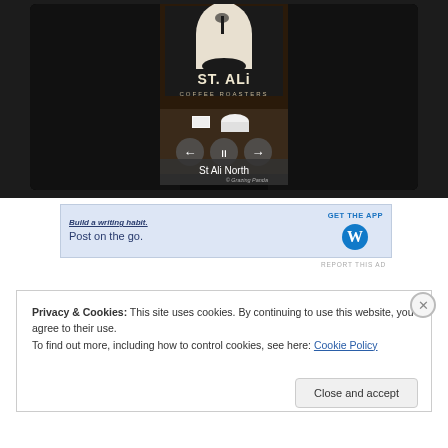[Figure (photo): Photo of St. Ali Coffee Roasters sign with coffee equipment visible. Shows slideshow with navigation arrows and pause button. Caption reads 'St Ali North' with '© Grazing Panda' watermark.]
[Figure (screenshot): WordPress advertisement banner: 'Build a writing habit. Post on the go.' with 'GET THE APP' button and WordPress logo.]
REPORT THIS AD
Privacy & Cookies: This site uses cookies. By continuing to use this website, you agree to their use.
To find out more, including how to control cookies, see here: Cookie Policy
Close and accept